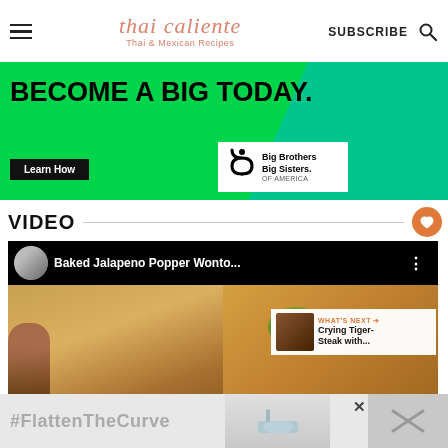thai caliente — Thai & Mexican Recipes — SUBSCRIBE
[Figure (photo): Advertisement banner: green background with text 'BECOME A BIG TODAY.' and a Learn How button plus Big Brothers Big Sisters of America logo]
VIDEO
[Figure (screenshot): YouTube video embed showing 'Baked Jalapeno Popper Wonto...' with food thumbnail and What's Next panel showing 'Crying Tiger-Steak with...']
[Figure (photo): Bottom advertisement banner with #FlattenTheCurve text and hand washing imagery]